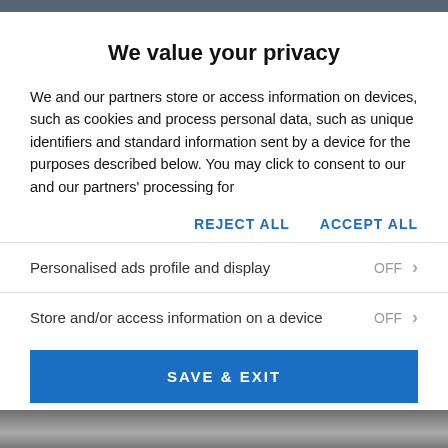We value your privacy
We and our partners store or access information on devices, such as cookies and process personal data, such as unique identifiers and standard information sent by a device for the purposes described below. You may click to consent to our and our partners' processing for
REJECT ALL
ACCEPT ALL
Personalised ads profile and display    OFF >
Store and/or access information on a device    OFF >
SAVE & EXIT
PARTNERS
LEGITIMATE INTEREST
[Figure (photo): Partial photo strip at the bottom of the page, showing a dark/grey image cropped at the bottom.]